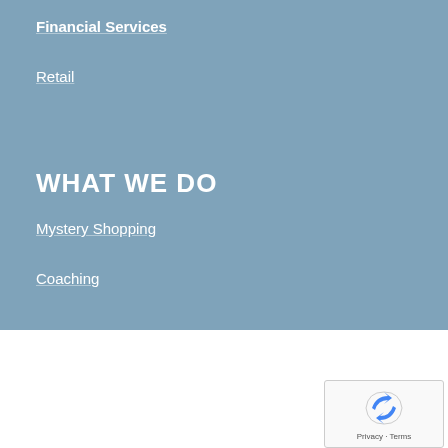Financial Services
Retail
WHAT WE DO
Mystery Shopping
Coaching
This site uses cookies. By continuing to browse the site, you are agreeing to our use of cookies.
Ok